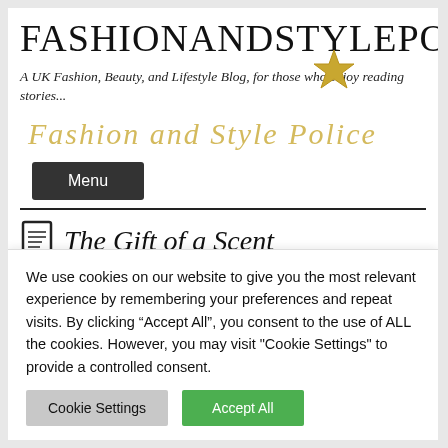FASHIONANDSTYLEPOLIC
A UK Fashion, Beauty, and Lifestyle Blog, for those who enjoy reading stories...
[Figure (logo): Cursive golden text reading 'Fashion and Style Police' overlaid on header area, with a gold star icon]
Menu
The Gift of a Scent
December 5, 2016  By fashionandstylepolice  in Beauty  Tags: Beauty Blog UK, Beauty Blogger Cheshire, Estée Lauder Modern Muse Le
We use cookies on our website to give you the most relevant experience by remembering your preferences and repeat visits. By clicking “Accept All”, you consent to the use of ALL the cookies. However, you may visit "Cookie Settings" to provide a controlled consent.
Cookie Settings    Accept All